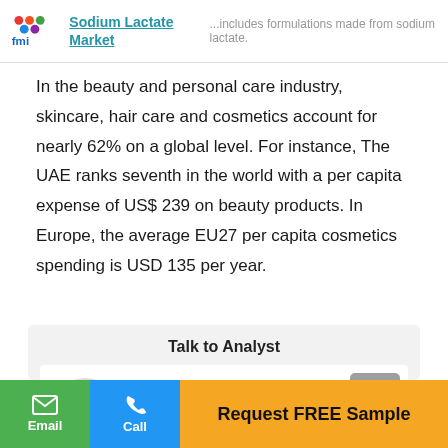Sodium Lactate Market ...includes formulations made from sodium lactate.
In the beauty and personal care industry, skincare, hair care and cosmetics account for nearly 62% on a global level. For instance, The UAE ranks seventh in the world with a per capita expense of US$ 239 on beauty products. In Europe, the average EU27 per capita cosmetics spending is USD 135 per year.
Talk to Analyst
Nikhil Kaitwade
Principal Consultant
Email  Call  Request FREE Sample